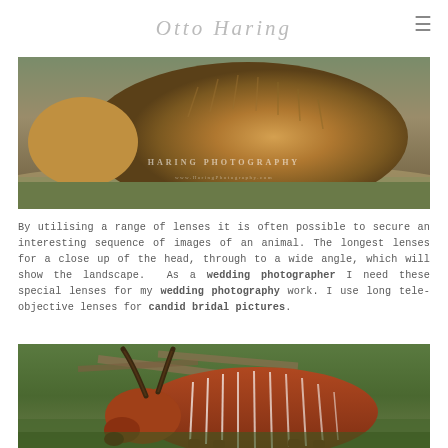Otto Haring
[Figure (photo): Close-up photograph of a large furry brown bison/buffalo grazing on a path, with watermark 'Haring Photography' and website URL]
By utilising a range of lenses it is often possible to secure an interesting sequence of images of an animal. The longest lenses for a close up of the head, through to a wide angle, which will show the landscape. As a wedding photographer I need these special lenses for my wedding photography work. I use long tele-objective lenses for candid bridal pictures.
[Figure (photo): Photograph of a bongo antelope (reddish-brown with white vertical stripes and long twisted horns) grazing in a lush green enclosure with wooden fencing in background]